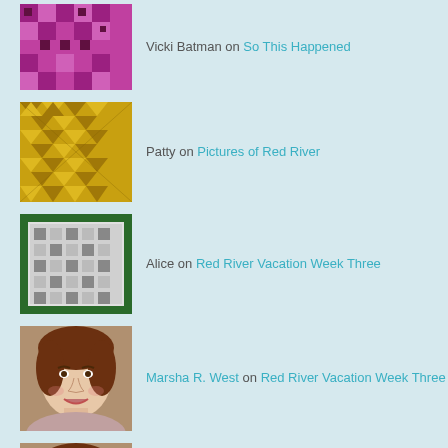Vicki Batman on So This Happened
Patty on Pictures of Red River
Alice on Red River Vacation Week Three
Marsha R. West on Red River Vacation Week Three
Marsha R. West on Red River Vacation Week Three
Marsha R. West on Red River Vacation Week Three
Blog at WordPress.com.